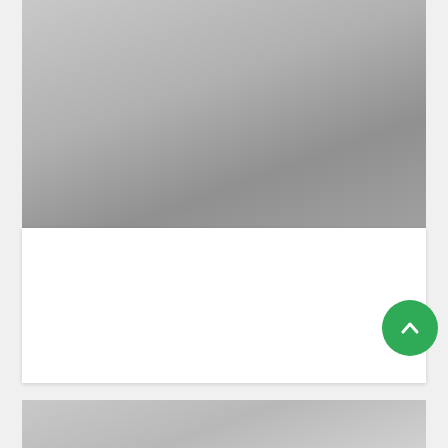[Figure (photo): Gray gradient placeholder image at top of page, representing a hero image for an article about inflight entertainment]
Inflight Entertainment, United
The Most Popular Movies and TV Shows In the Air
[Figure (photo): Partial gray gradient placeholder image visible at the bottom of the page, representing a second article card]